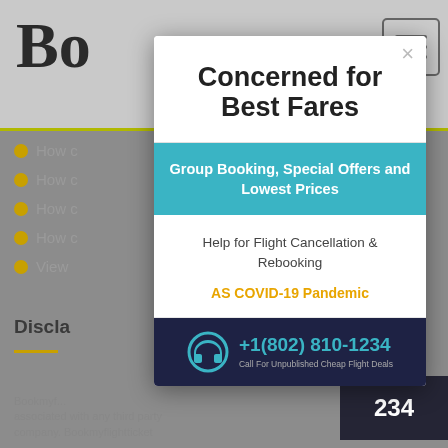[Figure (screenshot): Background webpage showing 'Bo...' logo, navigation links with yellow bullets ('How...', 'How...', 'How...', 'How...', 'View...'), hamburger menu icon, dark box with '234', 'Discla...' section header with yellow underline, and body text about Bookmy...]
Concerned for Best Fares
Group Booking, Special Offers and Lowest Prices
Help for Flight Cancellation & Rebooking
AS COVID-19 Pandemic
+1(802) 810-1234 Call For Unpublished Cheap Flight Deals